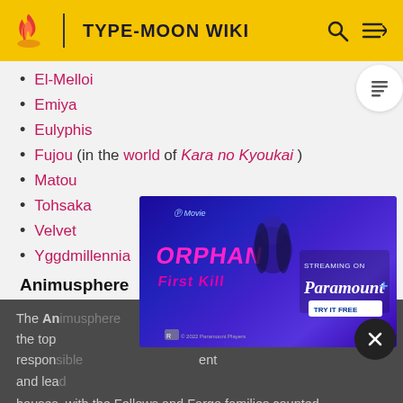TYPE-MOON WIKI
El-Melloi
Emiya
Eulyphis
Fujou (in the world of Kara no Kyoukai)
Matou
Tohsaka
Velvet
Yggdmillennia
Animusphere
The Animusphere ... e of the top ... responsible ... ent and lea... houses, with the Fellows and Fargo families counted
[Figure (advertisement): Paramount+ ad for Orphan: First Kill movie, showing a girl with dark hair, streaming on Paramount+ Try It Free]